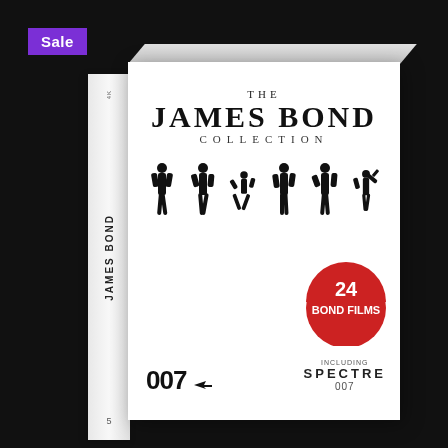[Figure (photo): The James Bond Collection DVD/Blu-ray box set. White box with six Bond actor silhouettes, 007 logo, red badge reading '24 BOND FILMS INCLUDING SPECTRE'. Spine shows 'JAMES BOND' text vertically. Purple 'Sale' badge in top left corner.]